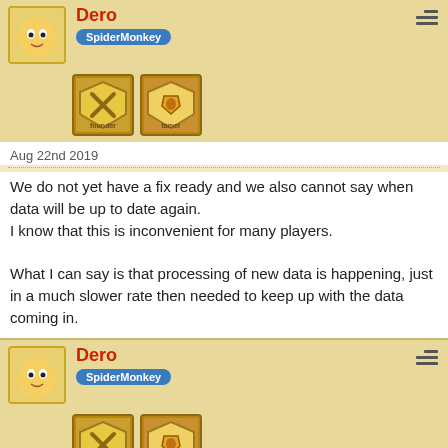[Figure (illustration): User avatar - Bart Simpson cartoon with badges below (founder and timer/tamer game badges), username Dero with SpiderMonkey label]
Aug 22nd 2019
We do not yet have a fix ready and we also cannot say when data will be up to date again.
I know that this is inconvenient for many players.

What I can say is that processing of new data is happening, just in a much slower rate then needed to keep up with the data coming in.
[Figure (illustration): User avatar - Bart Simpson cartoon with badges below (founder and timer/tamer game badges), username Dero with SpiderMonkey label]
Aug 30th 2019 +4
Just to keep you updated: We implemented a change that will reduce the amount of data coming in for processing. This should ensure that we will eventually catch up with the current state.